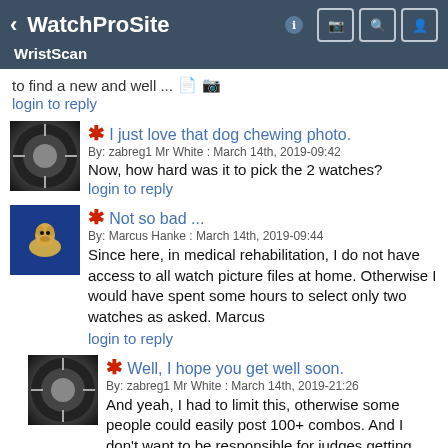WatchProSite — WristScan
to find a new and well ...
login to reply
I just love that dog chewing photo.
By: zabreg1 Mr White : March 14th, 2019-09:42
Now, how hard was it to pick the 2 watches?
login to reply
Not so bad ...
By: Marcus Hanke : March 14th, 2019-09:44
Since here, in medical rehabilitation, I do not have access to all watch picture files at home. Otherwise I would have spent some hours to select only two watches as asked. Marcus
login to reply
Well, I hope you get well soon.
By: zabreg1 Mr White : March 14th, 2019-21:26
And yeah, I had to limit this, otherwise some people could easily post 100+ combos. And I don't want to be responsible for judges getting carnal